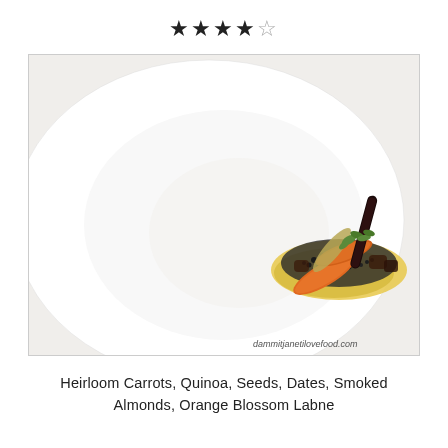★★★★☆
[Figure (photo): A fine dining dish on a white plate: heirloom carrots, quinoa, seeds, dates, smoked almonds, and orange blossom labne artfully presented. Watermark reads dammitjanetilovefood.com]
Heirloom Carrots, Quinoa, Seeds, Dates, Smoked Almonds, Orange Blossom Labne